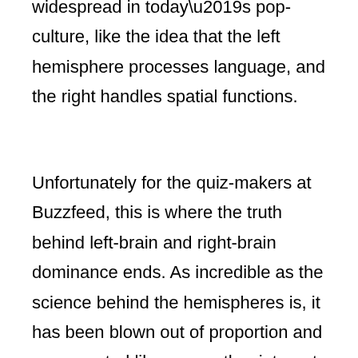widespread in today's pop-culture, like the idea that the left hemisphere processes language, and the right handles spatial functions.
Unfortunately for the quiz-makers at Buzzfeed, this is where the truth behind left-brain and right-brain dominance ends. As incredible as the science behind the hemispheres is, it has been blown out of proportion and exaggerated like many other internet myths. As the “left-brain right-brain” idea became more and more